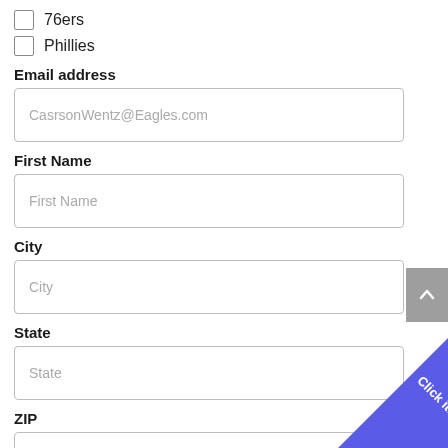76ers
Phillies
Email address
CasrsonWentz@Eagles.com
First Name
First Name
City
City
State
State
ZIP
Zip
Country